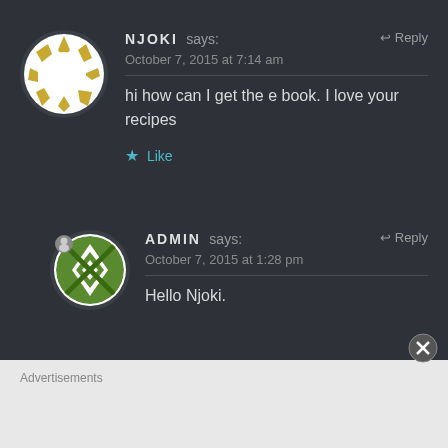[Figure (illustration): Round avatar with gold/yellow geometric diamond pattern on white circle background — NJOKI user avatar]
NJOKI says:
Reply
October 7, 2015 at 7:14 am
hi how can I get the e book. I love your recipes
Like
[Figure (illustration): Round avatar with green and white geometric quilt/diamond pattern — ADMIN user avatar with small person icon overlay]
ADMIN says:
Reply
October 7, 2015 at 1:28 pm
Hello Njoki.
Advertisements